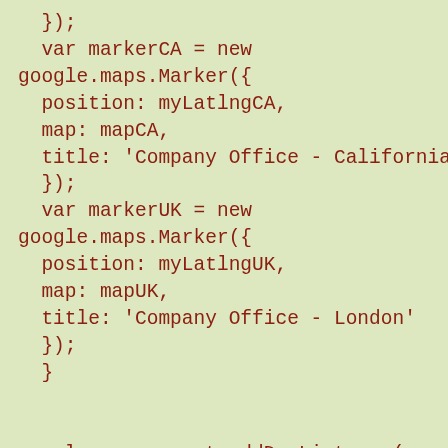});
  var markerCA = new
google.maps.Marker({
  position: myLatlngCA,
  map: mapCA,
  title: 'Company Office - California'
  });
  var markerUK = new
google.maps.Marker({
  position: myLatlngUK,
  map: mapUK,
  title: 'Company Office - London'
  });
  }


google.maps.event.addDomListener(